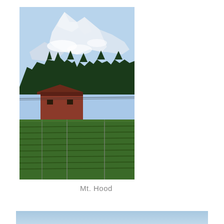[Figure (photo): Photograph of Mt. Hood with snow-capped peak rising above clouds, dark green evergreen trees in the middle ground, a red barn/farm building, and lush green vineyard or orchard rows in the foreground. Blue sky above.]
Mt. Hood
[Figure (photo): Partial view of another photo at the bottom of the page showing a light blue sky, cropped at the bottom edge.]